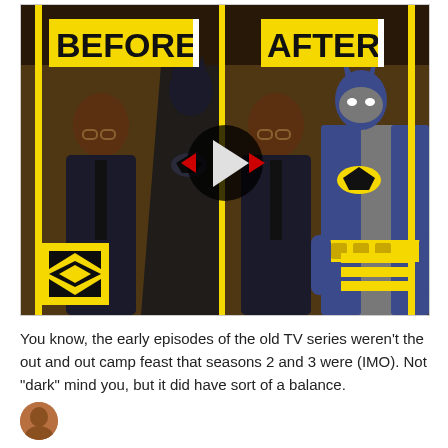[Figure (photo): A video thumbnail showing a 'BEFORE | AFTER' comparison image. Left side shows a man in a suit next to a dark, modern Batman costume. Right side shows the same man next to the classic 1960s TV Batman costume. Yellow vertical bars frame the image. A play button is overlaid in the center.]
You know, the early episodes of the old TV series weren't the out and out camp feast that seasons 2 and 3 were (IMO). Not "dark" mind you, but it did have sort of a balance.
[Figure (photo): Partial avatar/profile photo circle at the bottom left, showing a person's face.]